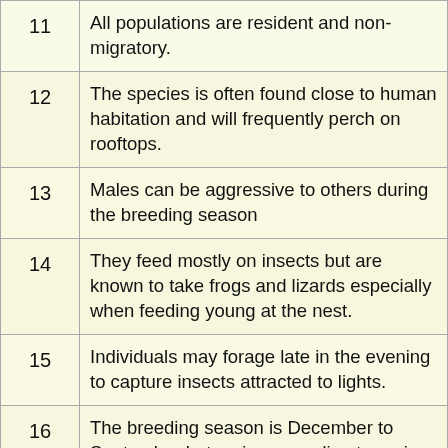| # | Description |
| --- | --- |
| 11 | All populations are resident and non-migratory. |
| 12 | The species is often found close to human habitation and will frequently perch on rooftops. |
| 13 | Males can be aggressive to others during the breeding season |
| 14 | They feed mostly on insects but are known to take frogs and lizards especially when feeding young at the nest. |
| 15 | Individuals may forage late in the evening to capture insects attracted to lights. |
| 16 | The breeding season is December to September but varies according to region. |
| 17 | Males sing during this season and display by lowering and spreading their tail feathers and strutting around the female, displaying their sides and fluffing their undertail coverts. |